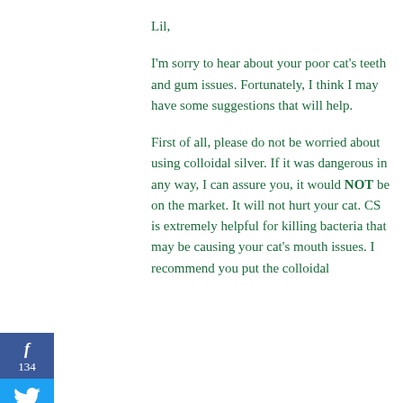Lil,
I'm sorry to hear about your poor cat's teeth and gum issues. Fortunately, I think I may have some suggestions that will help.
First of all, please do not be worried about using colloidal silver. If it was dangerous in any way, I can assure you, it would NOT be on the market. It will not hurt your cat. CS is extremely helpful for killing bacteria that may be causing your cat's mouth issues. I recommend you put the colloidal
[Figure (infographic): Social sharing sidebar buttons: Facebook (f, 134), Twitter (bird icon), Pinterest (P, 101)]